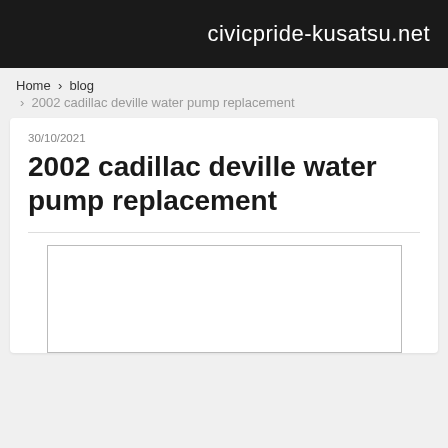civicpride-kusatsu.net
Home › blog › 2002 cadillac deville water pump replacement
30/10/2021
2002 cadillac deville water pump replacement
[Figure (other): Empty image placeholder box with gray border]